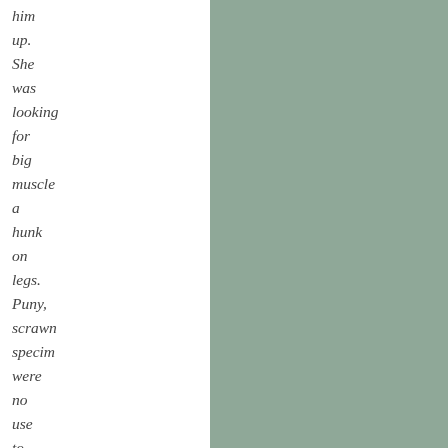him up. She was looking for big muscle a hunk on legs. Puny, scrawn specim were no use to her."
I have been hitchhiking in